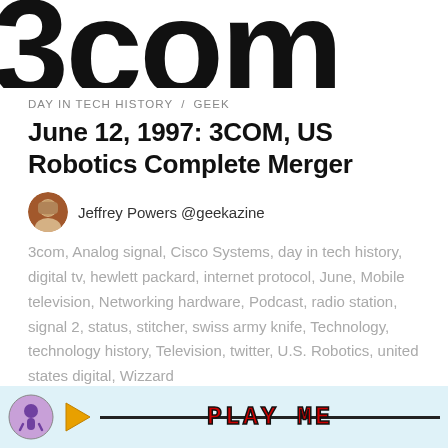[Figure (logo): Cropped 3COM logo text showing bottom portion of large bold letters '3com']
DAY IN TECH HISTORY / GEEK
June 12, 1997: 3COM, US Robotics Complete Merger
Jeffrey Powers @geekazine
3com, Analog signal, Cisco Systems, day in tech history, digital tv, hewlett packard, internet protocol, June, Mobile television, Networking hardware, Podcast, radio station, signal 2, status, stitcher, swiss army knife, Technology, technology history, Television, twitter, U.S. Robotics, united states digital, Wizzard
0 Comments   June 11, 2019
[Figure (other): Podcast player bar with podcast icon, play button triangle, progress line, and stylized 'PLAY ME' text in red with dark outline]